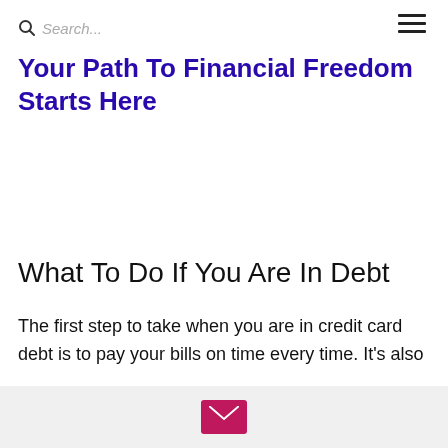Search...
Your Path To Financial Freedom Starts Here
What To Do If You Are In Debt
The first step to take when you are in credit card debt is to pay your bills on time every time. It's also
[Figure (other): Email newsletter signup icon — pink/magenta envelope icon on a light grey bar at the bottom of the page]